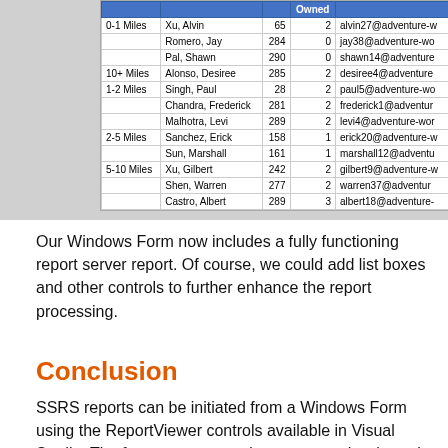[Figure (screenshot): Screenshot of an SSRS report table showing customer data grouped by commute distance (0-1 Miles, 10+ Miles, 1-2 Miles, 2-5 Miles, 5-10 Miles) with columns for Name, a numeric value, Owned count, and email address (truncated).]
Our Windows Form now includes a fully functioning report server report. Of course, we could add list boxes and other controls to further enhance the report processing.
Conclusion
SSRS reports can be initiated from a Windows Form using the ReportViewer controls available in Visual Studio. The form can process in remote mode where the processing is